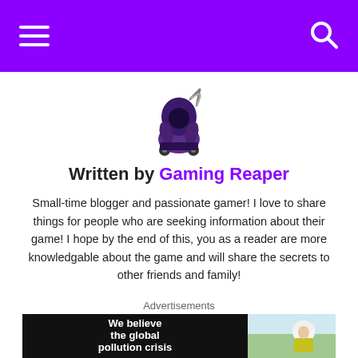Navigation bar with hamburger menu and search icon
[Figure (illustration): Grim reaper character illustration — dark hooded figure holding a scythe, sitting on a go-kart]
Written by Gaming Reaper
Small-time blogger and passionate gamer! I love to share things for people who are seeking information about their game! I hope by the end of this, you as a reader are more knowledgable about the game and will share the secrets to other friends and family!
Advertisements
[Figure (infographic): Advertisement banner: black background with white bold text reading 'We believe the global pollution crisis']
[Figure (photo): Advertisement: airplane on tarmac with cargo being loaded, overlay text reads 'WITHOUT REGARD TO POLITICAL, RELIGION, OR ABILITY TO PAY']